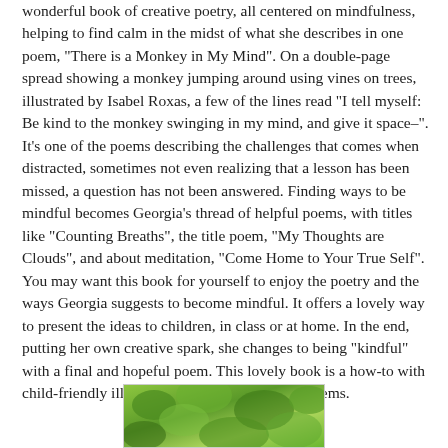wonderful book of creative poetry, all centered on mindfulness, helping to find calm in the midst of what she describes in one poem, "There is a Monkey in My Mind". On a double-page spread showing a monkey jumping around using vines on trees, illustrated by Isabel Roxas, a few of the lines read "I tell myself: Be kind to the monkey swinging in my mind, and give it space–". It's one of the poems describing the challenges that comes when distracted, sometimes not even realizing that a lesson has been missed, a question has not been answered. Finding ways to be mindful becomes Georgia's thread of helpful poems, with titles like "Counting Breaths", the title poem, "My Thoughts are Clouds", and about meditation, "Come Home to Your True Self". You may want this book for yourself to enjoy the poetry and the ways Georgia suggests to become mindful. It offers a lovely way to present the ideas to children, in class or at home. In the end, putting her own creative spark, she changes to being "kindful" with a final and hopeful poem. This lovely book is a how-to with child-friendly illustrations and softly-worded poems.
[Figure (photo): Partial view of a nature/tree photo, appears to show green foliage, possibly related to monkey/tree imagery from the book.]